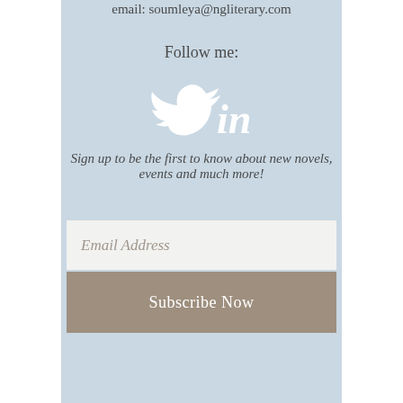email: soumleya@ngliterary.com
Follow me:
[Figure (illustration): Twitter bird icon and LinkedIn 'in' icon in white on light blue background]
Sign up to be the first to know about new novels, events and much more!
Email Address
Subscribe Now